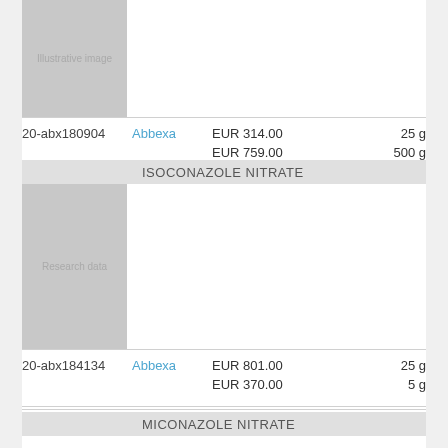[Figure (photo): Product image placeholder for first compound (partial, top of page)]
20-abx180904  Abbexa  EUR 314.00  25 g  EUR 759.00  500 g
[Figure (photo): Product image placeholder labeled 'Research data' for Isoconazole Nitrate]
ISOCONAZOLE NITRATE
20-abx184134  Abbexa  EUR 801.00  25 g  EUR 370.00  5 g
MICONAZOLE NITRATE